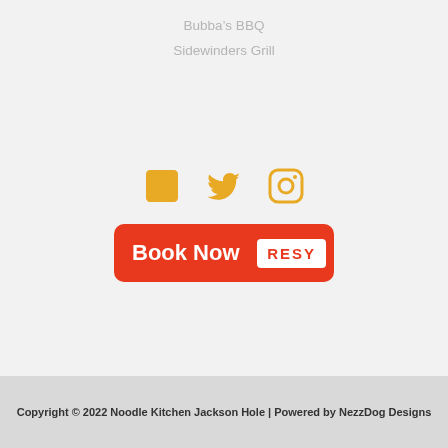Bubba's BBQ
Sidewinders Grill
[Figure (infographic): Three social media icons in golden/amber color: Facebook, Twitter, Instagram]
[Figure (infographic): Red 'Book Now' button with RESY white badge on the right]
Copyright © 2022 Noodle Kitchen Jackson Hole | Powered by NezzDog Designs